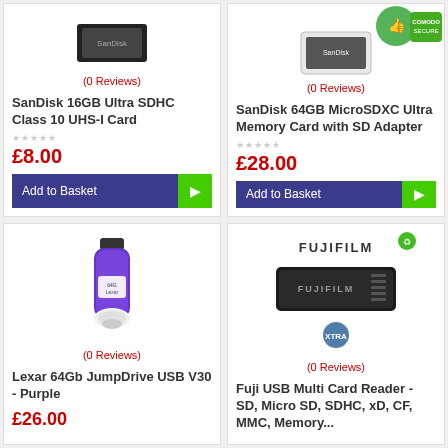[Figure (photo): SanDisk 16GB Ultra SDHC card product image (top portion cut off)]
(0 Reviews)
SanDisk 16GB Ultra SDHC Class 10 UHS-I Card
£8.00
Add to Basket
[Figure (photo): SanDisk 64GB MicroSDXC Ultra Memory Card product image with Comodo Secure badge]
(0 Reviews)
SanDisk 64GB MicroSDXC Ultra Memory Card with SD Adapter
£28.00
Add to Basket
[Figure (photo): Lexar 64Gb JumpDrive USB V30 Purple flash drive]
(0 Reviews)
Lexar 64Gb JumpDrive USB V30 - Purple
£26.00
[Figure (photo): Fujifilm USB Multi Card Reader black device with eco and trusted badges]
(0 Reviews)
Fuji USB Multi Card Reader - SD, Micro SD, SDHC, xD, CF, MMC, Memory...